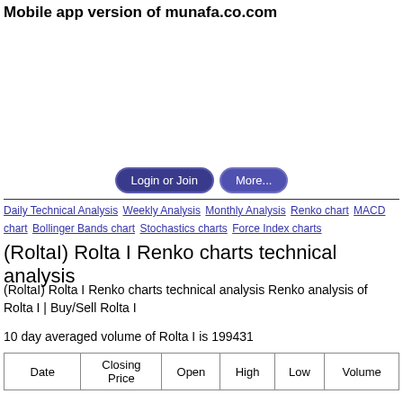Mobile app version of munafa.co.com
[Figure (other): Advertisement area (blank white space)]
Login or Join   More...
Daily Technical Analysis  Weekly Analysis  Monthly Analysis  Renko chart  MACD chart  Bollinger Bands chart  Stochastics charts  Force Index charts
(RoltaI) Rolta I Renko charts technical analysis
(RoltaI) Rolta I Renko charts technical analysis Renko analysis of Rolta I | Buy/Sell Rolta I
10 day averaged volume of Rolta I is 199431
| Date | Closing Price | Open | High | Low | Volume |
| --- | --- | --- | --- | --- | --- |